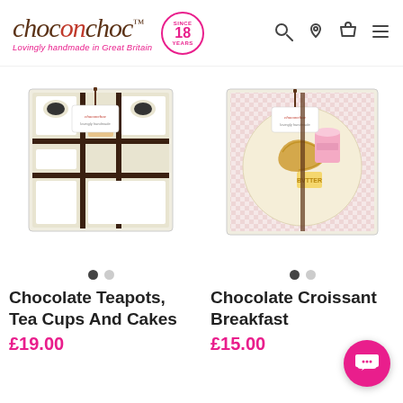choconchoc™ Lovingly handmade in Great Britain
[Figure (photo): Chocolate Teapots, Tea Cups And Cakes gift box — cream box with dark chocolate dividers, containing chocolate pieces shaped like teacups and a cupcake, with a choconchoc branded tag tied with a dark ribbon.]
[Figure (photo): Chocolate Croissant Breakfast gift box — cream box with gingham interior and circular white plate, containing chocolate croissant, a pink drink, and a yellow butter piece, with a choconchoc branded tag and dark ribbon.]
Chocolate Teapots, Tea Cups And Cakes
Chocolate Croissant Breakfast
£19.00
£15.00